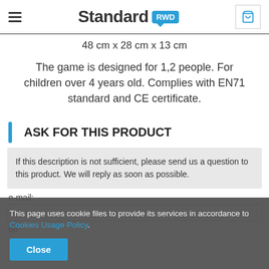Standard RWD
48 cm x 28 cm x 13 cm
The game is designed for 1,2 people. For children over 4 years old. Complies with EN71 standard and CE certificate.
ASK FOR THIS PRODUCT
If this description is not sufficient, please send us a question to this product. We will reply as soon as possible.
e-mail:
This page uses cookie files to provide its services in accordance to Cookies Usage Policy.